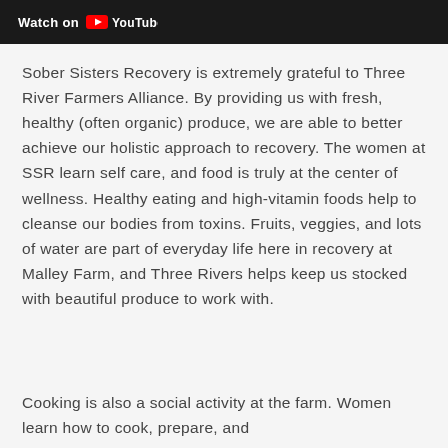[Figure (screenshot): YouTube Watch On banner — dark background with white bold text 'Watch on' and YouTube logo/text]
Sober Sisters Recovery is extremely grateful to Three River Farmers Alliance. By providing us with fresh, healthy (often organic) produce, we are able to better achieve our holistic approach to recovery. The women at SSR learn self care, and food is truly at the center of wellness. Healthy eating and high-vitamin foods help to cleanse our bodies from toxins. Fruits, veggies, and lots of water are part of everyday life here in recovery at Malley Farm, and Three Rivers helps keep us stocked with beautiful produce to work with.
Cooking is also a social activity at the farm. Women learn how to cook, prepare, and